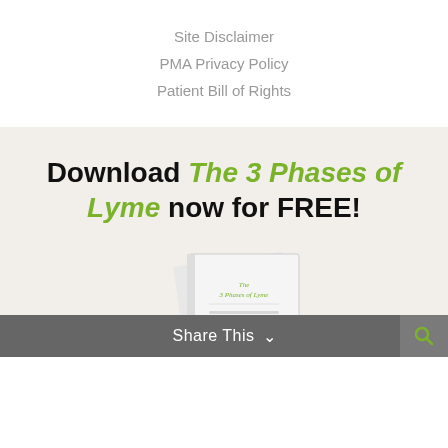Site Disclaimer
PMA Privacy Policy
Patient Bill of Rights
Download The 3 Phases of Lyme now for FREE!
[Figure (illustration): Book cover image of 'The 3 Phases of Lyme' shown at an angle]
Share This ∨